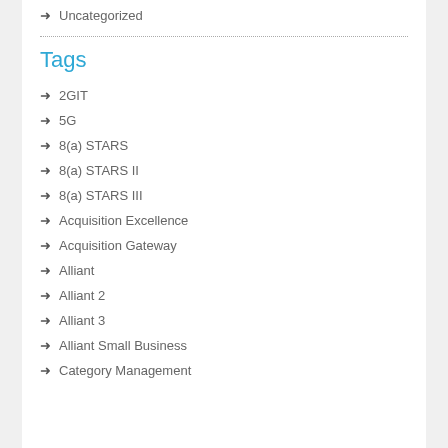Uncategorized
Tags
2GIT
5G
8(a) STARS
8(a) STARS II
8(a) STARS III
Acquisition Excellence
Acquisition Gateway
Alliant
Alliant 2
Alliant 3
Alliant Small Business
Category Management